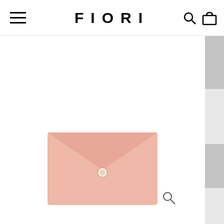FIORI
[Figure (screenshot): E-commerce website screenshot showing FIORI brand header with hamburger menu on the left, FIORI logo in center, search and bag icons on the right, and a pink leather envelope wallet/cardholder product image in the main content area with a scrollbar on the right side]